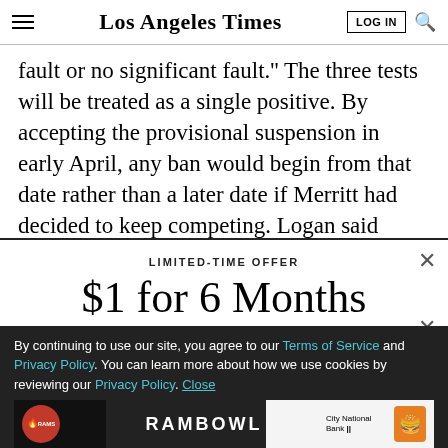Los Angeles Times
fault or no significant fault.'' The three tests will be treated as a single positive. By accepting the provisional suspension in early April, any ban would begin from that date rather than a later date if Merritt had decided to keep competing. Logan said Merritt's admission
LIMITED-TIME OFFER
$1 for 6 Months
SUBSCRIBE NOW
By continuing to use our site, you agree to our Terms of Service and Privacy Policy. You can learn more about how we use cookies by reviewing our Privacy Policy. Close